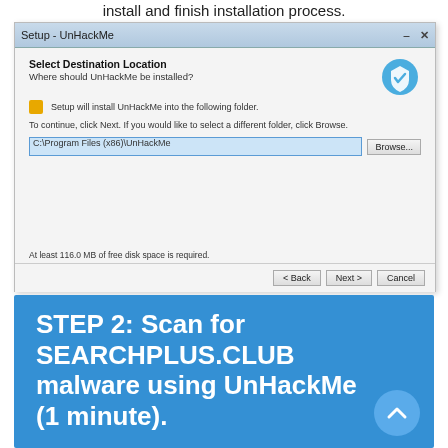install and finish installation process.
[Figure (screenshot): Windows Setup dialog for UnHackMe showing 'Select Destination Location' with folder path C:\Program Files (x86)\UnHackMe, Browse button, disk space note, and Back/Next/Cancel buttons.]
STEP 2: Scan for SEARCHPLUS.CLUB malware using UnHackMe (1 minute).